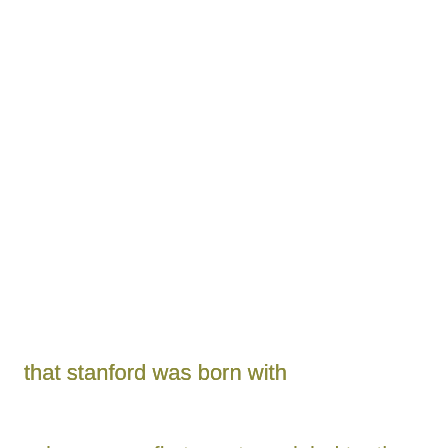that stanford was born with
schwarzman first create a global touth scholars networking linkin in students alma mater with the coalition of tsinghua, mit, oxford and yale
robert kuhn over 20 years pbs anchor of closer to truth, and more recently twin program for cgtn closer to china
jack ma un special adviser on livelihoods for youth of sdg gtion and how tech can help youth leapfrog over non-sustainable barriers elders erected
kissinger why a cold war over sdgs would lose america trust